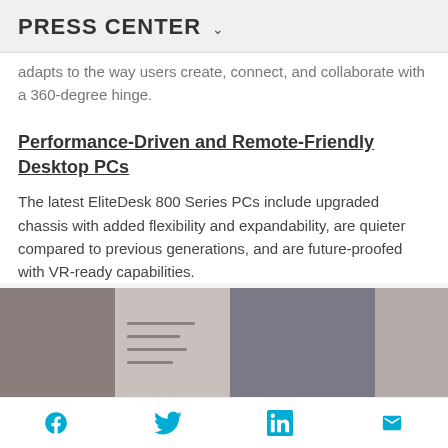PRESS CENTER ▾
adapts to the way users create, connect, and collaborate with a 360-degree hinge.
Performance-Driven and Remote-Friendly Desktop PCs
The latest EliteDesk 800 Series PCs include upgraded chassis with added flexibility and expandability, are quieter compared to previous generations, and are future-proofed with VR-ready capabilities.
[Figure (photo): Strip of four images showing laptops/devices in use, grayscale/muted tones]
Social share icons: Facebook, Twitter, LinkedIn, Email